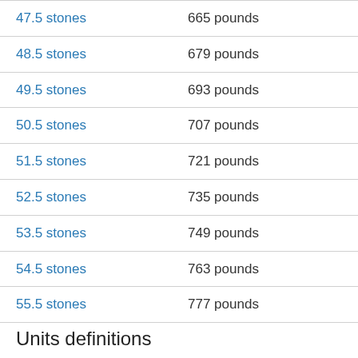| Stones | Pounds |
| --- | --- |
| 47.5 stones | 665 pounds |
| 48.5 stones | 679 pounds |
| 49.5 stones | 693 pounds |
| 50.5 stones | 707 pounds |
| 51.5 stones | 721 pounds |
| 52.5 stones | 735 pounds |
| 53.5 stones | 749 pounds |
| 54.5 stones | 763 pounds |
| 55.5 stones | 777 pounds |
Units definitions